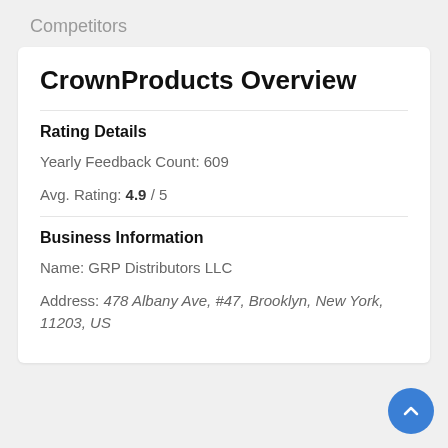Competitors
CrownProducts Overview
Rating Details
Yearly Feedback Count: 609
Avg. Rating: 4.9 / 5
Business Information
Name: GRP Distributors LLC
Address: 478 Albany Ave, #47, Brooklyn, New York, 11203, US